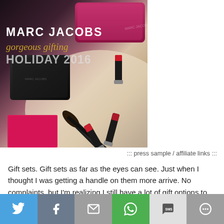[Figure (photo): Marc Jacobs holiday 2016 makeup gift set promo photo showing lipsticks, brushes, and cosmetic pouches with text overlay 'MARC JACOBS gorgeous gifting HOLIDAY 2016']
::: press sample / affiliate links :::
Gift sets. Gift sets as far as the eyes can see. Just when I thought I was getting a handle on them more arrive. No complaints, but I'm realizing I still have a lot of gift options to chat up with you lovely